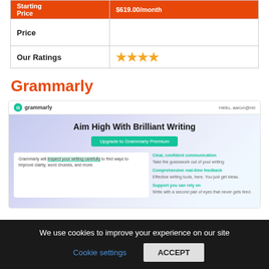| Starting Price | $619.00/month |
| --- | --- |
| Price |  |
| Our Ratings | ★★★★ |
Grammarly
[Figure (screenshot): Grammarly website screenshot showing 'Aim High With Brilliant Writing' headline with upgrade button and feature list including Clear, confident communication; Comprehensive real-time feedback; Support you can rely on]
We use cookies to improve your experience on our site
Cookie settings   ACCEPT